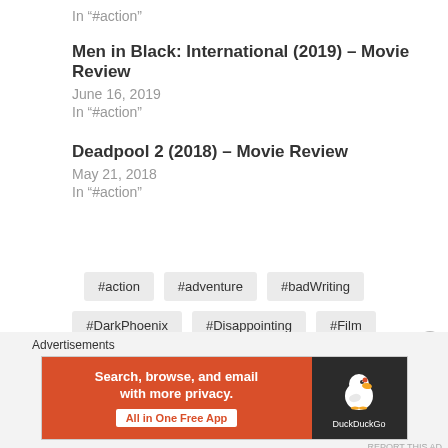In "#action"
Men in Black: International (2019) – Movie Review
June 16, 2019
In "#action"
Deadpool 2 (2018) – Movie Review
May 21, 2018
In "#action"
#action
#adventure
#badWriting
#DarkPhoenix
#Disappointing
#Film
#Flawed
#fox
#fun
#JeanGray
Advertisements
[Figure (screenshot): DuckDuckGo advertisement banner: orange left panel with text 'Search, browse, and email with more privacy. All in One Free App', dark right panel with DuckDuckGo duck logo.]